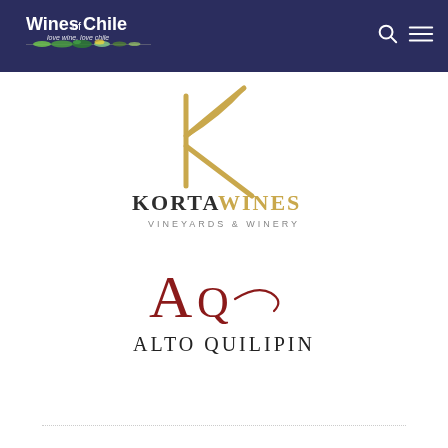[Figure (logo): Wines of Chile logo — white text on dark navy background with colorful landscape silhouette and tagline 'love wine, love chile']
[Figure (logo): Korta Wines Vineyards & Winery logo — gold stylized K lettermark above text KORTAWINES in dark/gold bicolor and VINEYARDS & WINERY in spaced gray caps]
[Figure (logo): Alto Quilipin logo — red A and Q monogram with script flourish above text ALTO QUILIPIN in dark spaced caps]